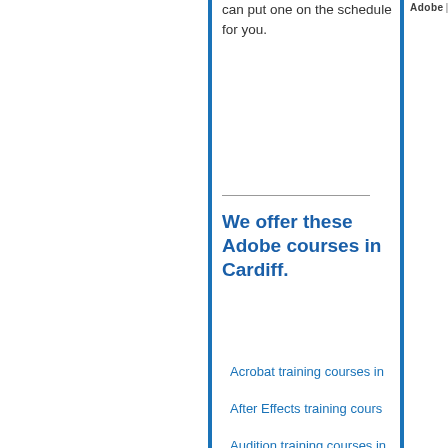Adobe |
can put one on the schedule for you.
We offer these Adobe courses in Cardiff.
Acrobat training courses in...
After Effects training cours...
Audition training courses in...
Captivate training courses...
ColdFusion training course...
Dreamweaver training cou...